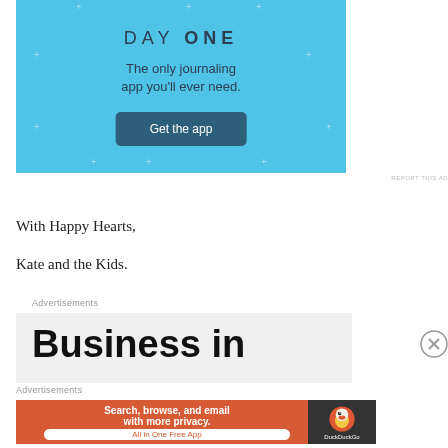[Figure (illustration): Day One journaling app advertisement on a light blue background with the text 'DAY ONE', 'The only journaling app you'll ever need.', and a 'Get the app' button.]
REPORT THIS AD
With Happy Hearts,
Kate and the Kids.
Advertisements
[Figure (illustration): Advertisement showing large bold text 'Business in' on a light gray background.]
Advertisements
[Figure (illustration): DuckDuckGo advertisement: 'Search, browse, and email with more privacy. All in One Free App' on orange background with DuckDuckGo logo on dark background.]
REPORT THIS AD